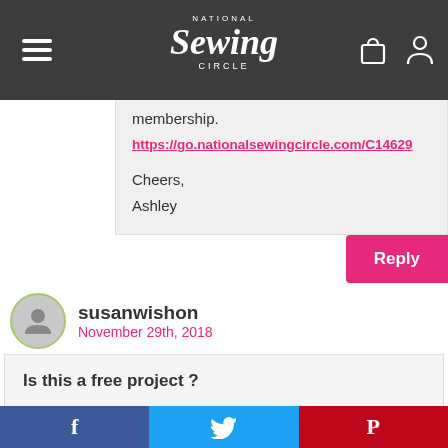National Sewing Circle
membership.
https://go.nationalsewingcircle.com/C14629

Cheers,
Ashley
Reply
susanwishon
November 29th, 2018
Is this a free project ?
Reply
Customer Service
November 30th, 2018
f  t  p